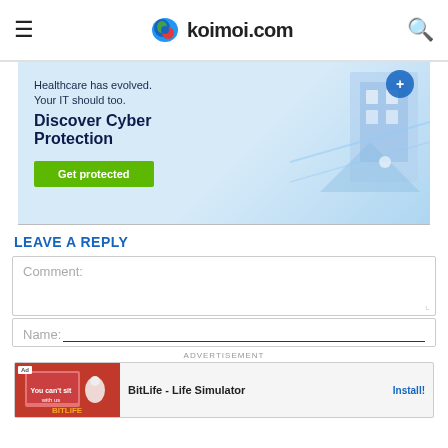koimoi.com
[Figure (illustration): Advertisement banner for Cyber Protection: 'Healthcare has evolved. Your IT should too. Discover Cyber Protection – Get protected' with isometric healthcare/IT illustration on blue background and green CTA button.]
LEAVE A REPLY
Comment:
Name:
[Figure (illustration): Bottom advertisement banner: BitLife - Life Simulator game ad with Install button.]